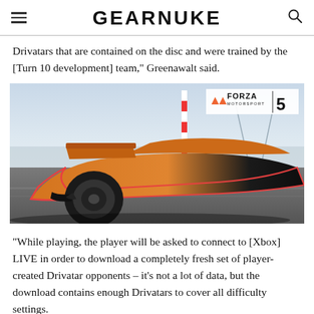GEARNUKE
Drivatars that are contained on the disc and were trained by the [Turn 10 development] team," Greenawalt said.
[Figure (photo): Forza Motorsport 5 screenshot showing an orange McLaren P1 supercar racing on a track, rear three-quarter view. Forza Motorsport 5 logo badge in top-right corner.]
“While playing, the player will be asked to connect to [Xbox] LIVE in order to download a completely fresh set of player-created Drivatar opponents – it’s not a lot of data, but the download contains enough Drivatars to cover all difficulty settings.